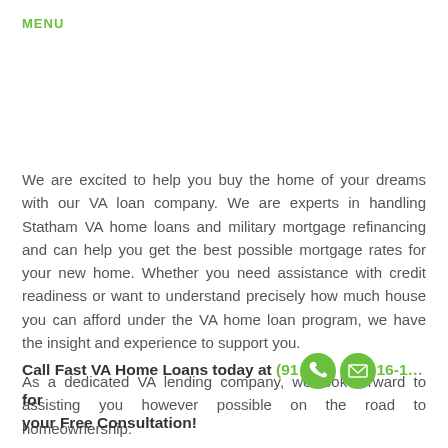[Figure (other): Green hamburger menu icon with three horizontal bars and MENU label below]
We are excited to help you buy the home of your dreams with our VA loan company. We are experts in handling Statham VA home loans and military mortgage refinancing and can help you get the best possible mortgage rates for your new home. Whether you need assistance with credit readiness or want to understand precisely how much house you can afford under the VA home loan program, we have the insight and experience to support you.

As a dedicated VA lending company, we look forward to assisting you however possible on the road to homeownership.
Call Fast VA Home Loans today at (91…16-1… for your Free Consultation!